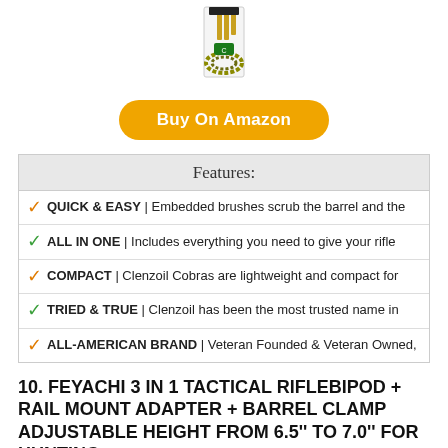[Figure (photo): Product photo of a gun cleaning kit with braided cord and brushes in packaging]
Buy On Amazon
Features:
QUICK & EASY | Embedded brushes scrub the barrel and the
ALL IN ONE | Includes everything you need to give your rifle
COMPACT | Clenzoil Cobras are lightweight and compact for
TRIED & TRUE | Clenzoil has been the most trusted name in
ALL-AMERICAN BRAND | Veteran Founded & Veteran Owned,
10. FEYACHI 3 IN 1 TACTICAL RIFLEBIPOD + RAIL MOUNT ADAPTER + BARREL CLAMP ADJUSTABLE HEIGHT FROM 6.5'' TO 7.0'' FOR HUNTING